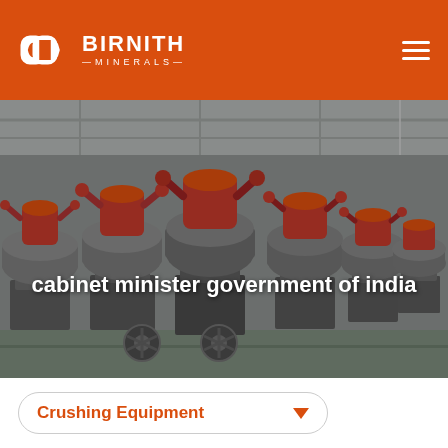[Figure (logo): Birnith Minerals logo — two interlocked hexagonal rings icon in white on orange background, with text BIRNITH MINERALS]
[Figure (photo): Industrial photo of a row of large red and grey crushing/milling machines in a factory hall, viewed in perspective]
cabinet minister government of india
Crushing Equipment